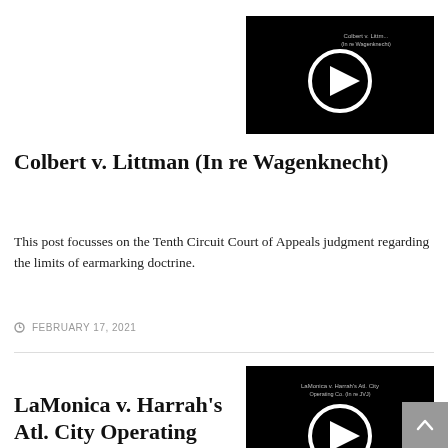[Figure (screenshot): Video thumbnail with black background and white circular play button. Small text label visible.]
Colbert v. Littman (In re Wagenknecht)
This post focusses on the Tenth Circuit Court of Appeals judgment regarding the limits of earmarking doctrine.
FEBRUARY 17, 2021
[Figure (screenshot): Video thumbnail with black background and white circular play button. Small text label visible for LaMonica v. Harrah's Atl. City Operating Co. (In re JVJ).]
LaMonica v. Harrah's Atl. City Operating Co. (In re JVJ